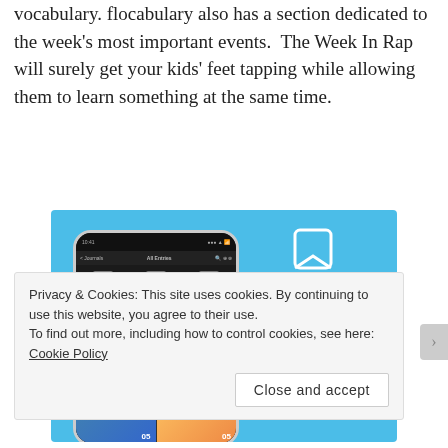vocabulary. flocabulary also has a section dedicated to the week's most important events.  The Week In Rap will surely get your kids' feet tapping while allowing them to learn something at the same time.
[Figure (advertisement): DayOne app advertisement on a blue background showing a smartphone with a photo journal app interface. Logo shows a bookmark icon. Text reads DAYONE, Your Journal for life, and a Get the app button.]
Privacy & Cookies: This site uses cookies. By continuing to use this website, you agree to their use.
To find out more, including how to control cookies, see here: Cookie Policy
Close and accept